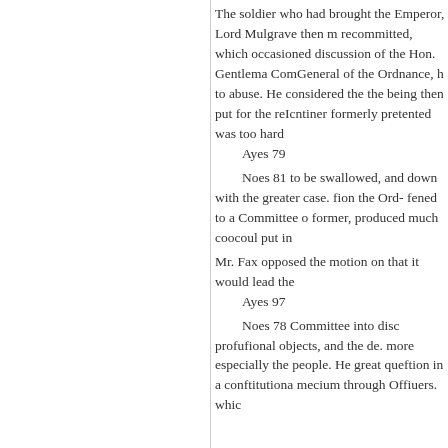The soldier who had brought the Emperor, Lord Mulgrave then m recommitted, which occasioned discussion of the Hon. Gentlema ComGeneral of the Ordnance, h to abuse. He considered the the being then put for the reIcntiner formerly pretented was too hard

    Ayes 79

    Noes 81 to be swallowed, and down with the greater case. fion the Ord- fened to a Committee o former, produced much coocoul put in

Mr. Fax opposed the motion on that it would lead the

    Ayes 97

    Noes 78 Committee into disc profufional objects, and the de. more especially the people. He great queftion in a conftitutiona mecium through Offiuers. whic